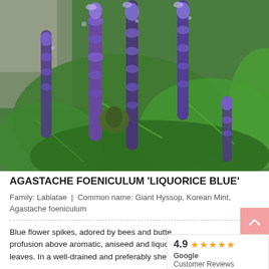[Figure (photo): Purple/violet flower spikes of Agastache foeniculum 'Liquorice Blue' against green leaves background. Multiple tall cylindrical flower spikes with dense purple-blue blooms. Garden setting with stone wall visible in background.]
AGASTACHE FOENICULUM 'LIQUORICE BLUE'
Family: Labiatae  |  Common name: Giant Hyssop, Korean Mint, Agastache foeniculum
Blue flower spikes, adored by bees and butterflies, are borne in profusion above aromatic, aniseed and liquorice-scented leaves. In a well-drained and preferably shelt